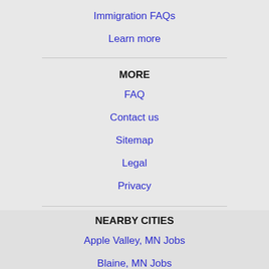Immigration FAQs
Learn more
MORE
FAQ
Contact us
Sitemap
Legal
Privacy
This website uses cookies to ensure you get the best experience on this website.
NEARBY CITIES
Apple Valley, MN Jobs
Blaine, MN Jobs
Bloomington, MN Jobs
Brooklyn Park, MN Jobs
Burnsville, MN Jobs
Coon Rapids, MN Jobs